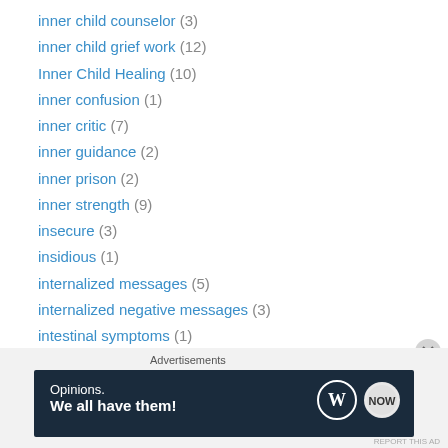inner child counselor (3)
inner child grief work (12)
Inner Child Healing (10)
inner confusion (1)
inner critic (7)
inner guidance (2)
inner prison (2)
inner strength (9)
insecure (3)
insidious (1)
internalized messages (5)
internalized negative messages (3)
intestinal symptoms (1)
introspective (1)
introversion (2)
intuition (5)
[Figure (other): Advertisement banner: dark navy background with text 'Opinions. We all have them!' and WordPress logo and circular icon on the right.]